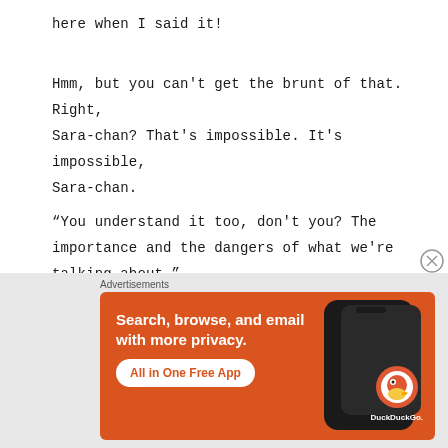here when I said it!
Hmm, but you can't get the brunt of that. Right, Sara-chan? That's impossible. It's impossible, Sara-chan.
“You understand it too, don’t you? The importance and the dangers of what we’re talking about.”
“Sara-chan, don’t.”
[Figure (other): DuckDuckGo advertisement banner with orange background. Text reads: Search, browse, and email with more privacy. All in One Free App. Shows a phone mockup with DuckDuckGo logo.]